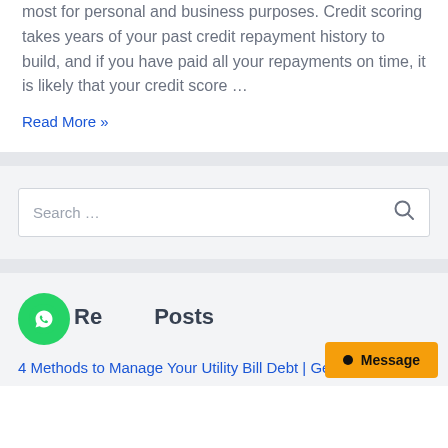most for personal and business purposes. Credit scoring takes years of your past credit repayment history to build, and if you have paid all your repayments on time, it is likely that your credit score ...
Read More »
Search ...
Recent Posts
4 Methods to Manage Your Utility Bill Debt | Ge...
Message